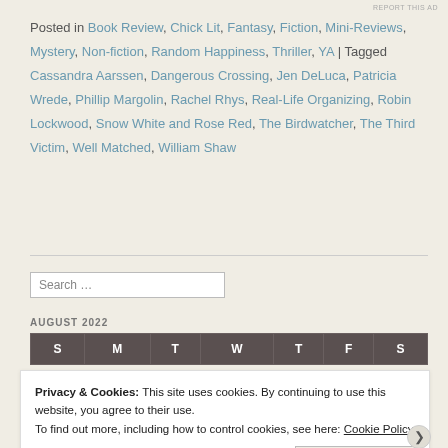Posted in Book Review, Chick Lit, Fantasy, Fiction, Mini-Reviews, Mystery, Non-fiction, Random Happiness, Thriller, YA | Tagged Cassandra Aarssen, Dangerous Crossing, Jen DeLuca, Patricia Wrede, Phillip Margolin, Rachel Rhys, Real-Life Organizing, Robin Lockwood, Snow White and Rose Red, The Birdwatcher, The Third Victim, Well Matched, William Shaw
| S | M | T | W | T | F | S |
| --- | --- | --- | --- | --- | --- | --- |
Privacy & Cookies: This site uses cookies. By continuing to use this website, you agree to their use. To find out more, including how to control cookies, see here: Cookie Policy
Close and accept